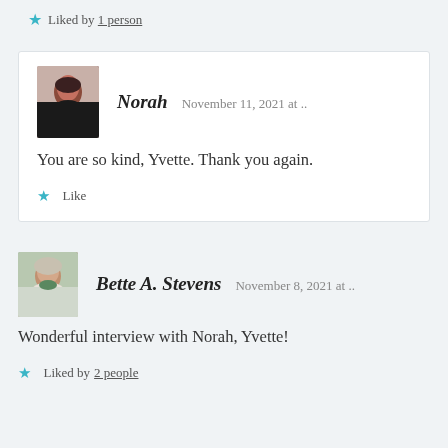Liked by 1 person
Norah   November 11, 2021 at ..
You are so kind, Yvette. Thank you again.
Like
Bette A. Stevens   November 8, 2021 at ..
Wonderful interview with Norah, Yvette!
Liked by 2 people